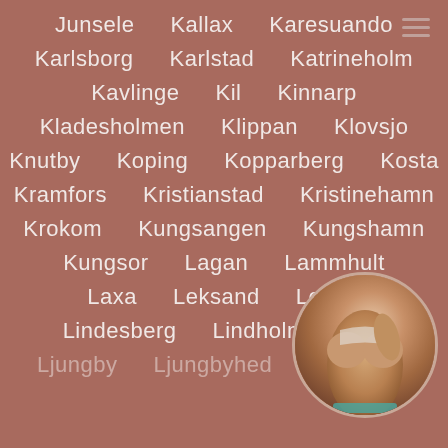Junsele   Kallax   Karesuando
Karlsborg   Karlstad   Katrineholm
Kavlinge   Kil   Kinnarp
Kladesholmen   Klippan   Klovsjo
Knutby   Koping   Kopparberg   Kosta
Kramfors   Kristianstad   Kristinehamn
Krokom   Kungsangen   Kungshamn
Kungsor   Lagan   Lammhult
Laxa   Leksand   Lerum
Lindesberg   Lindholmen   Li...
Ljungby   Ljungbyhed   Ljungskile
[Figure (photo): Circular cropped photo in bottom right corner]